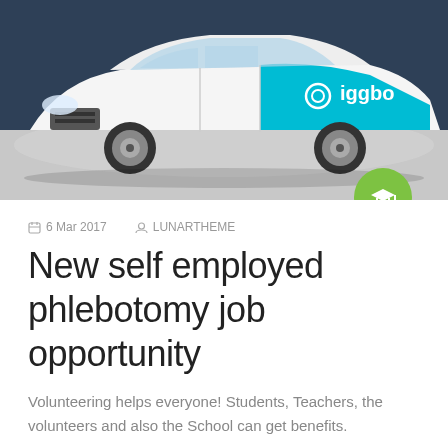[Figure (photo): White and teal car with iggbo branding on the door panel, photographed against a dark navy/blue studio background. A green circular badge with a graduation cap icon overlaps the bottom right of the image.]
6 Mar 2017   LUNARTHEME
New self employed phlebotomy job opportunity
Volunteering helps everyone! Students, Teachers, the volunteers and also the School can get benefits.